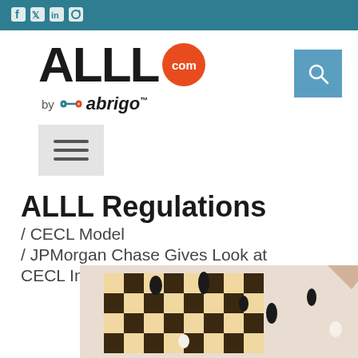Social media icons: Facebook, Twitter, LinkedIn, Instagram
[Figure (logo): ALLL.com by abrigo logo with orange circle containing 'com' text]
[Figure (other): Search button icon]
[Figure (other): Hamburger menu icon]
ALLL Regulations
/ CECL Model
/ JPMorgan Chase Gives Look at CECL Impact
[Figure (photo): Chess board with black and white chess pieces, someone's hand moving a piece]